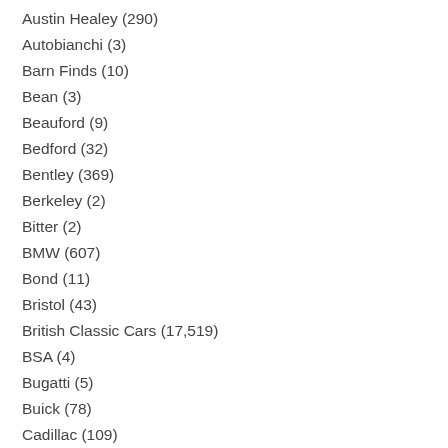Austin Healey (290)
Autobianchi (3)
Barn Finds (10)
Bean (3)
Beauford (9)
Bedford (32)
Bentley (369)
Berkeley (2)
Bitter (2)
BMW (607)
Bond (11)
Bristol (43)
British Classic Cars (17,519)
BSA (4)
Bugatti (5)
Buick (78)
Cadillac (109)
Camper Vans (93)
Caterham (6)